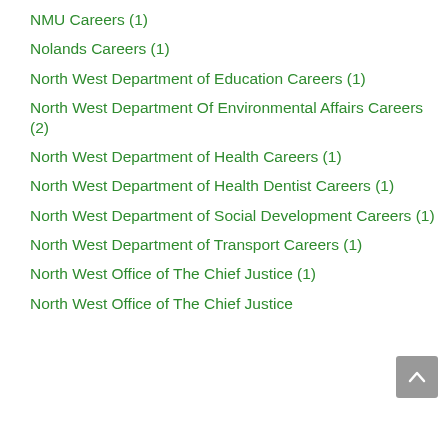NMU Careers (1)
Nolands Careers (1)
North West Department of Education Careers (1)
North West Department Of Environmental Affairs Careers (2)
North West Department of Health Careers (1)
North West Department of Health Dentist Careers (1)
North West Department of Social Development Careers (1)
North West Department of Transport Careers (1)
North West Office of The Chief Justice (1)
North West Office of The Chief Justice